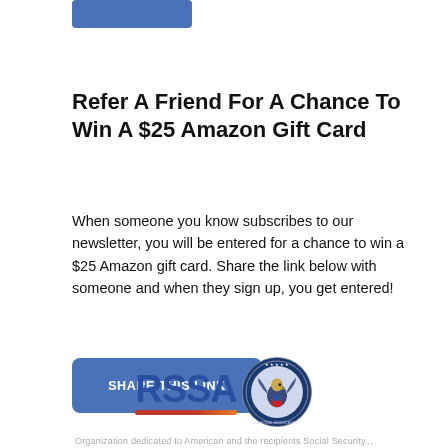[Figure (other): Blue rounded rectangle button/bar at top]
Refer A Friend For A Chance To Win A $25 Amazon Gift Card
When someone you know subscribes to our newsletter, you will be entered for a chance to win a $25 Amazon gift card. Share the link below with someone and when they sign up, you get entered!
[Figure (other): Blue rounded button labeled SHARE THIS LINK]
[Figure (logo): RSSA logo with red/orange underline and circular Association of Registered Social Security Analysts seal]
Organization dedicated to American and the recipients Social Security...